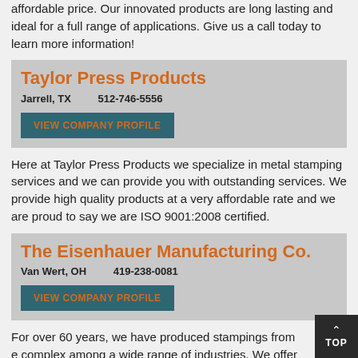affordable price. Our innovated products are long lasting and ideal for a full range of applications. Give us a call today to learn more information!
Taylor Press Products
Jarrell, TX    512-746-5556
VIEW COMPANY PROFILE
Here at Taylor Press Products we specialize in metal stamping services and we can provide you with outstanding services. We provide high quality products at a very affordable rate and we are proud to say we are ISO 9001:2008 certified.
The Eisenhauer Manufacturing Co.
Van Wert, OH    419-238-0081
VIEW COMPANY PROFILE
For over 60 years, we have produced stampings from e complex among a wide range of industries. We offer wid of thickness, width, and depth. We also off